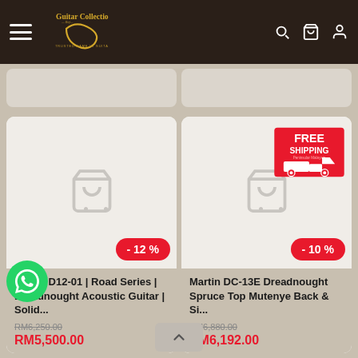Guitar Collection — Trusted Name In Guitars
[Figure (screenshot): Guitar Collection logo with golden script and truck icon, hamburger menu, search, cart, and user icons in dark header]
[Figure (photo): Product card: Martin D12-01 | Road Series | Dreadnought Acoustic Guitar | Solid... with -12% discount badge, original price RM6,250.00, sale price RM5,500.00]
[Figure (photo): Product card: Martin DC-13E Dreadnought Spruce Top Mutenye Back & Si... with FREE SHIPPING badge, -10% discount badge, original price RM6,880.00, sale price RM6,192.00]